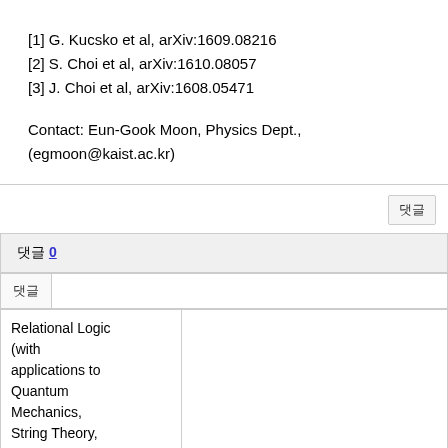[1] G. Kucsko et al, arXiv:1609.08216
[2] S. Choi et al, arXiv:1610.08057
[3] J. Choi et al, arXiv:1608.05471
Contact: Eun-Gook Moon, Physics Dept., (egmoon@kaist.ac.kr)
| 댓글 | 0 | 댓글 |
| --- | --- | --- |
| Relational Logic (with applications to Quantum Mechanics, String Theory, Cosmology, |  |